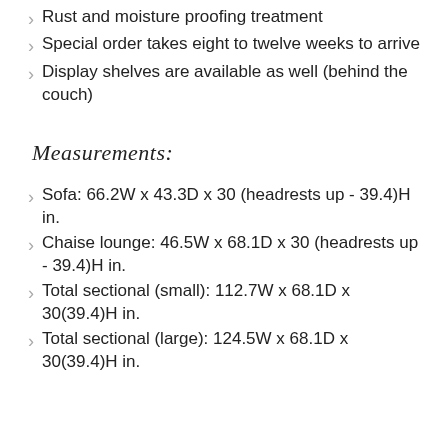Rust and moisture proofing treatment
Special order takes eight to twelve weeks to arrive
Display shelves are available as well (behind the couch)
Measurements:
Sofa: 66.2W x 43.3D x 30 (headrests up - 39.4)H in.
Chaise lounge: 46.5W x 68.1D x 30 (headrests up - 39.4)H in.
Total sectional (small): 112.7W x 68.1D x 30(39.4)H in.
Total sectional (large): 124.5W x 68.1D x 30(39.4)H in.